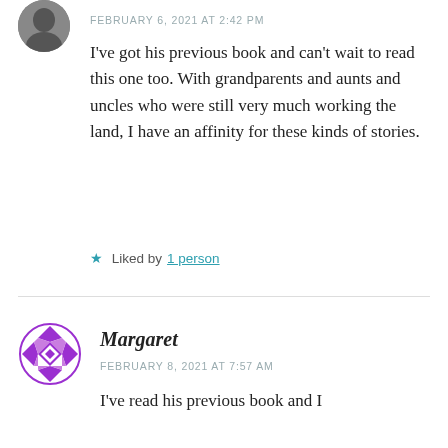[Figure (photo): Partial circular avatar photo of a person, cropped at top of page]
FEBRUARY 6, 2021 AT 2:42 PM
I've got his previous book and can't wait to read this one too. With grandparents and aunts and uncles who were still very much working the land, I have an affinity for these kinds of stories.
★ Liked by 1 person
[Figure (logo): Purple geometric quilt-pattern avatar icon for Margaret]
Margaret
FEBRUARY 8, 2021 AT 7:57 AM
I've read his previous book and I